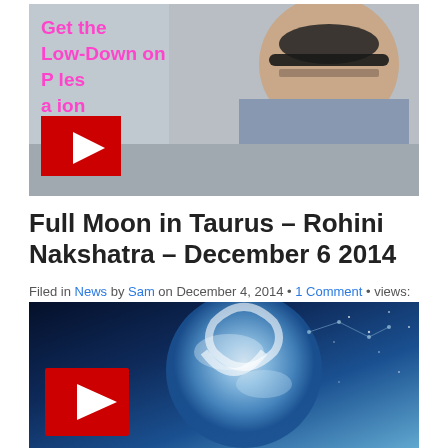[Figure (screenshot): Video thumbnail showing a man with sunglasses outdoors on a street, with pink overlaid text reading 'Get the Low-Down on Principles and Passion' and a red YouTube play button in the lower left corner]
Full Moon in Taurus – Rohini Nakshatra – December 6 2014
Filed in News by Sam on December 4, 2014 • 1 Comment • views: 16011
[Figure (screenshot): Video thumbnail showing a blue full moon with a Taurus zodiac symbol overlaid, set against a dark blue starfield background with a red YouTube play button in the lower left]